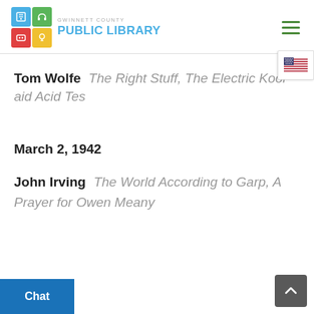Gwinnett County Public Library
Tom Wolfe The Right Stuff, The Electric Kool-aid Acid Tes
March 2, 1942
John Irving The World According to Garp, A Prayer for Owen Meany
13, 1938